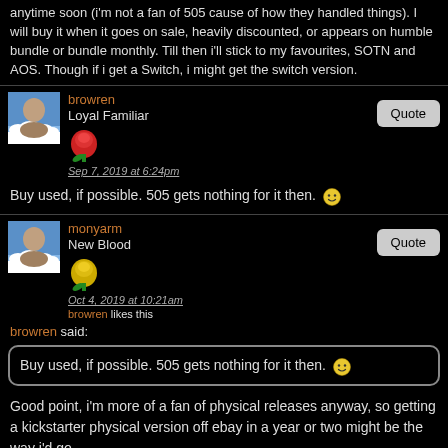anytime soon (i'm not a fan of 505 cause of how they handled things). I will buy it when it goes on sale, heavily discounted, or appears on humble bundle or bundle monthly. Till then i'll stick to my favourites, SOTN and AOS. Though if i get a Switch, i might get the switch version.
browren
Loyal Familiar
Sep 7, 2019 at 6:24pm
Buy used, if possible. 505 gets nothing for it then. 🙂
monyarm
New Blood
Oct 4, 2019 at 10:21am
browren likes this
browren said:
Buy used, if possible. 505 gets nothing for it then. 🙂
Good point, i'm more of a fan of physical releases anyway, so getting a kickstarter physical version off ebay in a year or two might be the way i'd go.